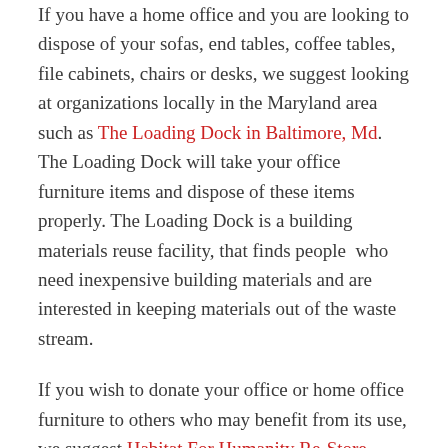If you have a home office and you are looking to dispose of your sofas, end tables, coffee tables, file cabinets, chairs or desks, we suggest looking at organizations locally in the Maryland area such as The Loading Dock in Baltimore, Md. The Loading Dock will take your office furniture items and dispose of these items properly. The Loading Dock is a building materials reuse facility, that finds people who need inexpensive building materials and are interested in keeping materials out of the waste stream.
If you wish to donate your office or home office furniture to others who may benefit from its use, we suggest Habitat For Humanity Re-Store. There are many locations in Maryland, DC and Virginia. The items must be in good condition and be able to re-